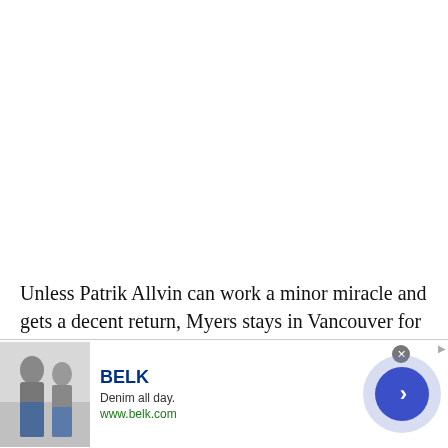Unless Patrik Allvin can work a minor miracle and gets a decent return, Myers stays in Vancouver for at least one more season. After 2023-24's bonus is [partially obscured] $1 million and that could [partially obscured]hich, by then, might well be
[Figure (photo): Partial photo strip showing hockey fans/crowd at an arena, partially obscured by overlaid text and advertisement]
[Figure (photo): Advertisement banner for BELK showing clothing/denim imagery with the text 'BELK', 'Denim all day.', 'www.belk.com' and a blue circular arrow button]